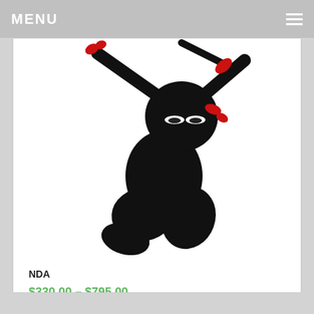MENU
[Figure (illustration): Black ninja character in a crouching/leaping pose with red accents on hand and headband, on white background]
NDA
$330.00 – $795.00